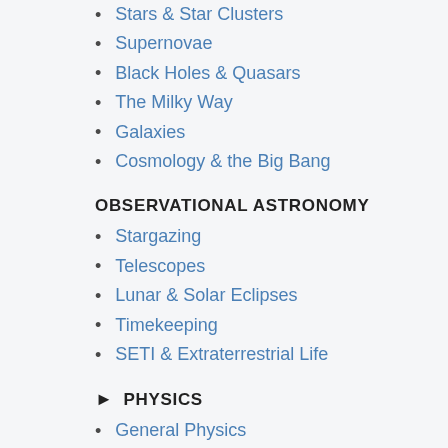Stars & Star Clusters
Supernovae
Black Holes & Quasars
The Milky Way
Galaxies
Cosmology & the Big Bang
OBSERVATIONAL ASTRONOMY
Stargazing
Telescopes
Lunar & Solar Eclipses
Timekeeping
SETI & Extraterrestrial Life
PHYSICS
General Physics
The Theory of Relativity
PEOPLE & ASTRONOMY
Careers in Astronomy